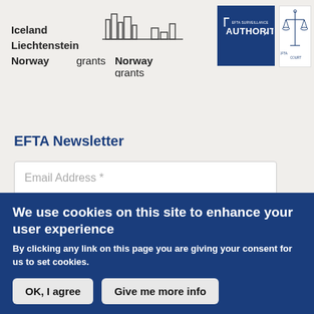[Figure (logo): Iceland Liechtenstein Norway grants and Norway grants logos with city skyline icon]
[Figure (logo): EFTA Surveillance Authority logo - dark blue square with text]
[Figure (logo): EFTA Court logo - scales of justice illustration]
EFTA Newsletter
Email Address *
SIGN UP
We use cookies on this site to enhance your user experience
By clicking any link on this page you are giving your consent for us to set cookies.
OK, I agree
Give me more info